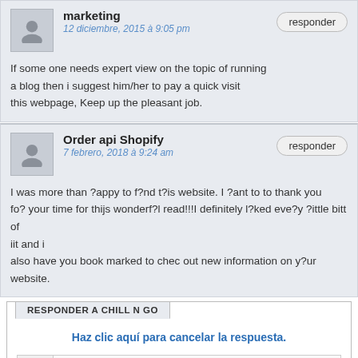marketing
12 diciembre, 2015 à 9:05 pm
If some one needs expert view on the topic of running a blog then i suggest him/her to pay a quick visit this webpage, Keep up the pleasant job.
Order api Shopify
7 febrero, 2018 à 9:24 am
I was more than ?appy to f?nd t?is website. I ?ant to to thank you fo? your time for thijs wonderf?l read!!!I definitely l?ked eve?y ?ittle bitt of iit and i
also have you book marked to chec out new information on y?ur website.
RESPONDER A CHILL N GO
Haz clic aquí para cancelar la respuesta.
Nom*
Correo electrónico*